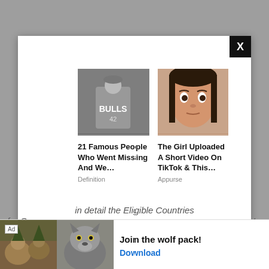[Figure (screenshot): Modal popup advertisement overlay on a gray webpage background. Contains two ad cards: '21 Famous People Who Went Missing And We...' from Definition (with black-and-white basketball player in Bulls jersey image), and 'The Girl Uploaded A Short Video On TikTok & This...' from Appurse (with close-up photo of young woman). Modal has a black X close button in top right corner. Taboola branding icons in bottom right of modal. Below the modal, partially visible webpage text reads 'in detail the Eligible Countries for C... to'. A bottom banner ad shows wolf/wildlife images with text 'Join the wolf pack!' and a 'Download' button, with an 'Ad' badge.]